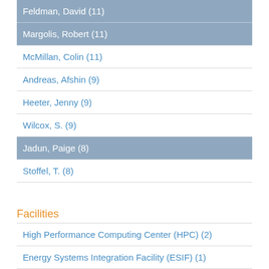Feldman, David (11)
Margolis, Robert (11)
McMillan, Colin (11)
Andreas, Afshin (9)
Heeter, Jenny (9)
Wilcox, S. (9)
Jadun, Paige (8)
Stoffel, T. (8)
Facilities
High Performance Computing Center (HPC) (2)
Energy Systems Integration Facility (ESIF) (1)
Funding Organization